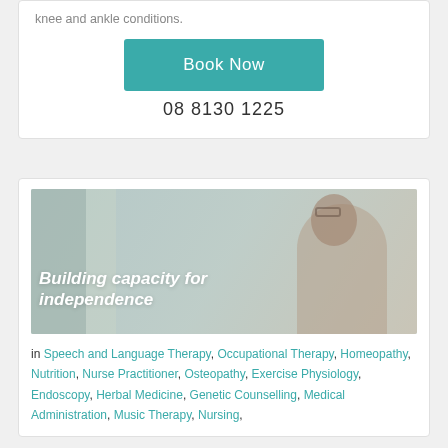knee and ankle conditions.
Book Now
08 8130 1225
[Figure (photo): Banner image showing a woman with glasses smiling, with overlaid italic text 'Building capacity for independence']
in Speech and Language Therapy, Occupational Therapy, Homeopathy, Nutrition, Nurse Practitioner, Osteopathy, Exercise Physiology, Endoscopy, Herbal Medicine, Genetic Counselling, Medical Administration, Music Therapy, Nursing,